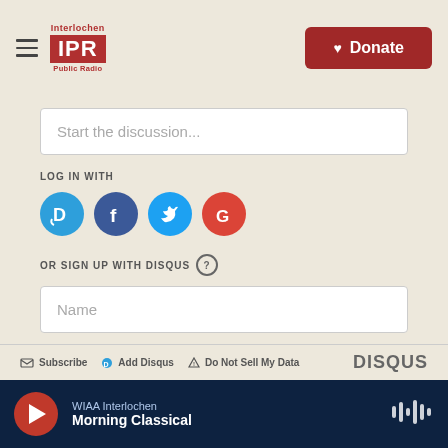[Figure (logo): Interlochen IPR Public Radio logo with hamburger menu icon]
[Figure (other): Red Donate button with heart icon]
Start the discussion...
LOG IN WITH
[Figure (other): Social login icons: Disqus (blue D), Facebook (dark blue f), Twitter (light blue bird), Google (red G)]
OR SIGN UP WITH DISQUS ?
Name
Be the first to comment.
Subscribe  Add Disqus  Do Not Sell My Data  DISQUS
WIAA Interlochen  Morning Classical